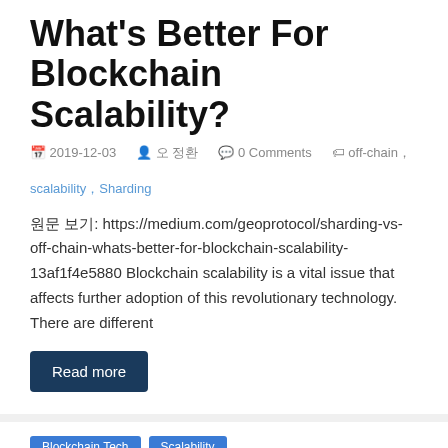What's Better For Blockchain Scalability?
2019-12-03  오 정환  0 Comments  off-chain, scalability, Sharding
원문 보기: https://medium.com/geoprotocol/sharding-vs-off-chain-whats-better-for-blockchain-scalability-13af1f4e5880 Blockchain scalability is a vital issue that affects further adoption of this revolutionary technology. There are different
Read more
Blockchain Tech  Scalability
Two Important Points On Blockchain Scalability
2019-12-03  오 정환  0 Comments  hardware, scalability, TPS